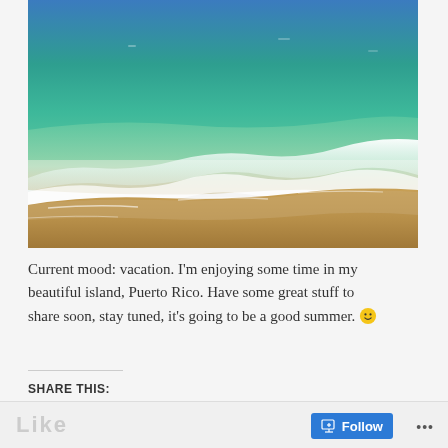[Figure (photo): Beach photo showing turquoise ocean water with waves rolling onto sandy shore, blue sky on the horizon. The water transitions from deep blue at the top to green and then sandy/brown near the shoreline. White sea foam is visible where the wave meets the sand.]
Current mood: vacation. I'm enjoying some time in my beautiful island, Puerto Rico. Have some great stuff to share soon, stay tuned, it's going to be a good summer. 🙂
SHARE THIS: